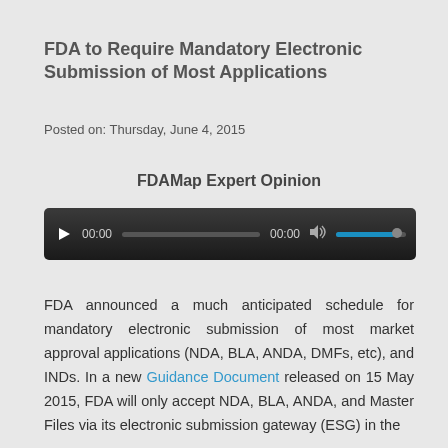FDA to Require Mandatory Electronic Submission of Most Applications
Posted on: Thursday, June 4, 2015
FDAMap Expert Opinion
[Figure (other): Audio player widget showing 00:00 timestamp and volume control]
FDA announced a much anticipated schedule for mandatory electronic submission of most market approval applications (NDA, BLA, ANDA, DMFs, etc), and INDs. In a new Guidance Document released on 15 May 2015, FDA will only accept NDA, BLA, ANDA, and Master Files via its electronic submission gateway (ESG) in the